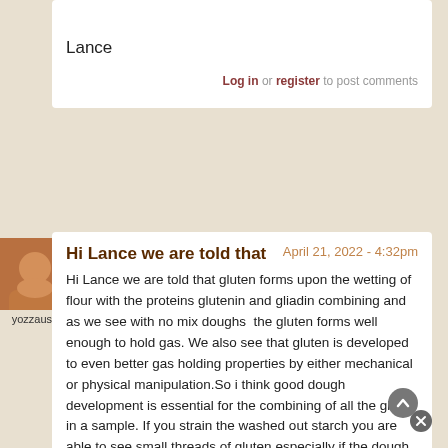Lance
Log in or register to post comments
Hi Lance we are told that
April 21, 2022 - 4:32pm
Hi Lance we are told that gluten forms upon the wetting of flour with the proteins glutenin and gliadin combining and as we see with no mix doughs  the gluten forms well enough to hold gas. We also see that gluten is developed to even better gas holding properties by either mechanical or physical manipulation.So i think good dough development is essential for the combining of all the gluten in a sample. If you strain the washed out starch you are able to see small threads of gluten especially if the dough hasn't had a good mix, its still possible to pick these up and incorporate into the main blob. as against washing it out under running water.